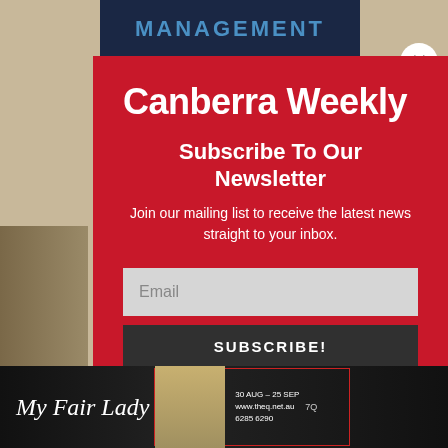[Figure (screenshot): Screenshot of a website page with a newsletter subscription modal overlay for Canberra Weekly. The modal has a red background and contains the Canberra Weekly logo, subscribe text, email input field, and subscribe button. Behind the modal is a dark navy header with the word MANAGEMENT and a stone texture background. At the bottom is a My Fair Lady advertisement banner.]
Canberra Weekly
Subscribe To Our Newsletter
Join our mailing list to receive the latest news straight to your inbox.
Email
SUBSCRIBE!